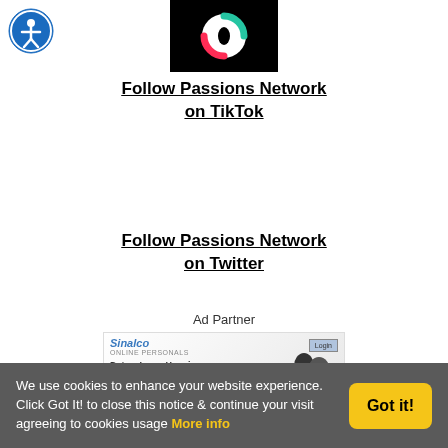[Figure (logo): Accessibility icon — blue circle with white person figure]
[Figure (logo): TikTok logo on black background — circular pink/cyan swirl]
Follow Passions Network on TikTok
Follow Passions Network on Twitter
Ad Partner
[Figure (screenshot): Sinalco Online Personals ad — Dates, Love, Happiness tagline with couple photo]
We use cookies to enhance your website experience. Click Got It! to close this notice & continue your visit agreeing to cookies usage More info
Got it!